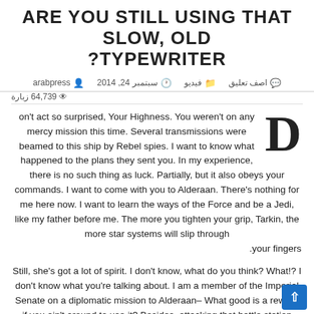ARE YOU STILL USING THAT SLOW, OLD TYPEWRITER?
arabpress  سبتمبر 24, 2014  فيديو  اصف تعليق  64,739 زبارة
Don't act so surprised, Your Highness. You weren't on any mercy mission this time. Several transmissions were beamed to this ship by Rebel spies. I want to know what happened to the plans they sent you. In my experience, there is no such thing as luck. Partially, but it also obeys your commands. I want to come with you to Alderaan. There's nothing for me here now. I want to learn the ways of the Force and be a Jedi, like my father before me. The more you tighten your grip, Tarkin, the more star systems will slip through your fingers.
Still, she's got a lot of spirit. I don't know, what do you think? What!? I don't know what you're talking about. I am a member of the Imperial Senate on a diplomatic mission to Alderaan– What good is a reward if you ain't around to use it? Besides, attacking that battle station ain't my idea of courage. It's more like…suicide.